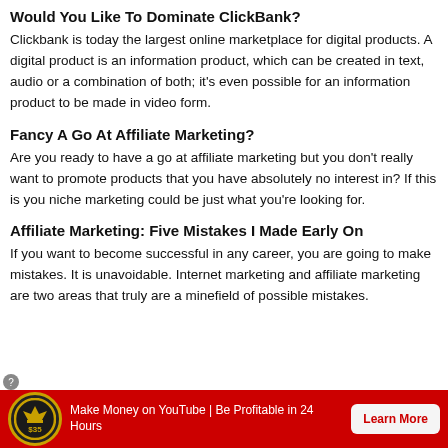Would You Like To Dominate ClickBank?
Clickbank is today the largest online marketplace for digital products. A digital product is an information product, which can be created in text, audio or a combination of both; it's even possible for an information product to be made in video form.
Fancy A Go At Affiliate Marketing?
Are you ready to have a go at affiliate marketing but you don't really want to promote products that you have absolutely no interest in? If this is you niche marketing could be just what you're looking for.
Affiliate Marketing: Five Mistakes I Made Early On
If you want to become successful in any career, you are going to make mistakes. It is unavoidable. Internet marketing and affiliate marketing are two areas that truly are a minefield of possible mistakes.
[Figure (infographic): Red advertisement bar at the bottom with a gold-bordered circular badge/logo, text reading 'Make Money on YouTube | Be Profitable in 24 Hours', and a 'Learn More' button.]